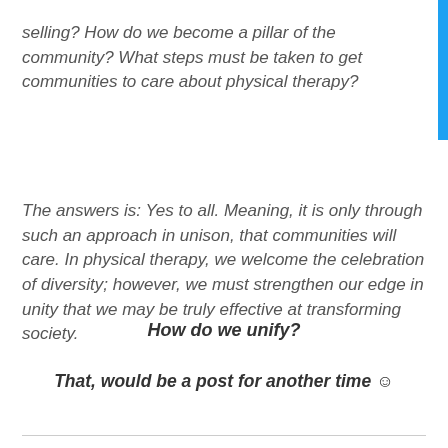selling? How do we become a pillar of the community? What steps must be taken to get communities to care about physical therapy?
The answers is: Yes to all. Meaning, it is only through such an approach in unison, that communities will care. In physical therapy, we welcome the celebration of diversity; however, we must strengthen our edge in unity that we may be truly effective at transforming society.
How do we unify?
That, would be a post for another time ☺